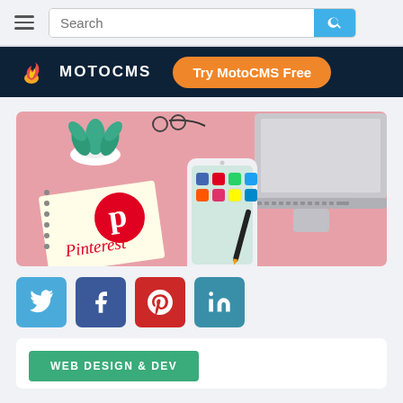Search bar with hamburger menu and search button
[Figure (logo): MotoCMS logo with flame icon and 'Try MotoCMS Free' orange button on dark navy navigation bar]
[Figure (photo): Pinterest branded notebook, smartphone with social media apps, succulent plant, laptop, and pen on pink background]
[Figure (infographic): Social media share icons: Twitter (blue), Facebook (dark blue), Pinterest (red), LinkedIn (teal)]
[Figure (screenshot): White card with green 'WEB DESIGN & DEV' button]